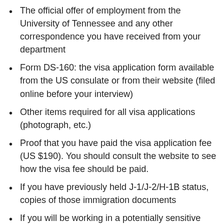The official offer of employment from the University of Tennessee and any other correspondence you have received from your department
Form DS-160: the visa application form available from the US consulate or from their website (filed online before your interview)
Other items required for all visa applications (photograph, etc.)
Proof that you have paid the visa application fee (US $190). You should consult the website to see how the visa fee should be paid.
If you have previously held J-1/J-2/H-1B status, copies of those immigration documents
If you will be working in a potentially sensitive academic field and you may be subject to a background check, a letter from your experience...